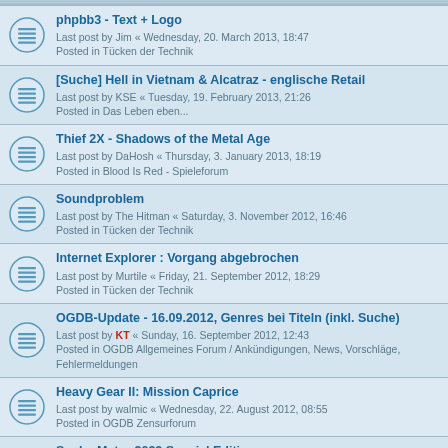phpbb3 - Text + Logo
Last post by Jim « Wednesday, 20. March 2013, 18:47
Posted in Tücken der Technik
[Suche] Hell in Vietnam & Alcatraz - englische Retail
Last post by KSE « Tuesday, 19. February 2013, 21:26
Posted in Das Leben eben...
Thief 2X - Shadows of the Metal Age
Last post by DaHosh « Thursday, 3. January 2013, 18:19
Posted in Blood Is Red - Spieleforum
Soundproblem
Last post by The Hitman « Saturday, 3. November 2012, 16:46
Posted in Tücken der Technik
Internet Explorer : Vorgang abgebrochen
Last post by Murtile « Friday, 21. September 2012, 18:29
Posted in Tücken der Technik
OGDB-Update - 16.09.2012, Genres bei Titeln (inkl. Suche)
Last post by KT « Sunday, 16. September 2012, 12:43
Posted in OGDB Allgemeines Forum / Ankündigungen, News, Vorschläge, Fehlermeldungen
Heavy Gear II: Mission Caprice
Last post by walmic « Wednesday, 22. August 2012, 08:55
Posted in OGDB Zensurforum
Suche Metro 2033 Special Edition
Last post by den86 « Saturday, 11. August 2012, 17:47
Posted in Das Leben eben...